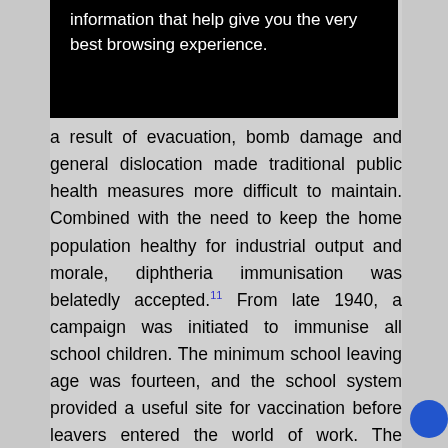information that help give you the very best browsing experience.
a result of evacuation, bomb damage and general dislocation made traditional public health measures more difficult to maintain. Combined with the need to keep the home population healthy for industrial output and morale, diphtheria immunisation was belatedly accepted.11 From late 1940, a campaign was initiated to immunise all school children. The minimum school leaving age was fourteen, and the school system provided a useful site for vaccination before leavers entered the world of work. The prophylactic was supplied to local authorities free of charge, and the government estimated that around a third of school children up to the age of